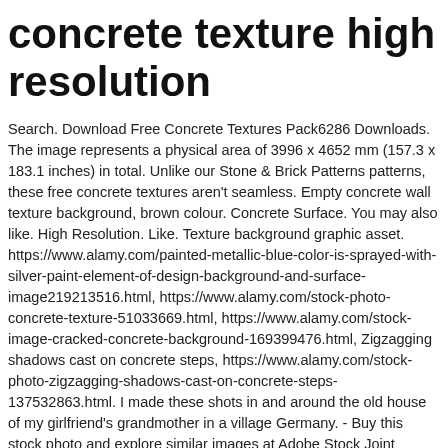concrete texture high resolution
Search. Download Free Concrete Textures Pack6286 Downloads. The image represents a physical area of 3996 x 4652 mm (157.3 x 183.1 inches) in total. Unlike our Stone & Brick Patterns patterns, these free concrete textures aren't seamless. Empty concrete wall texture background, brown colour. Concrete Surface. You may also like. High Resolution. Like. Texture background graphic asset. https://www.alamy.com/painted-metallic-blue-color-is-sprayed-with-silver-paint-element-of-design-background-and-surface-image219213516.html, https://www.alamy.com/stock-photo-concrete-texture-51033669.html, https://www.alamy.com/stock-image-cracked-concrete-background-169399476.html, Zigzagging shadows cast on concrete steps, https://www.alamy.com/stock-photo-zigzagging-shadows-cast-on-concrete-steps-137532863.html. I made these shots in and around the old house of my girlfriend's grandmother in a village Germany. - Buy this stock photo and explore similar images at Adobe Stock Joint Dimensions. Download this Premium Photo about High resolution concrete cement wall texture background, and discover more